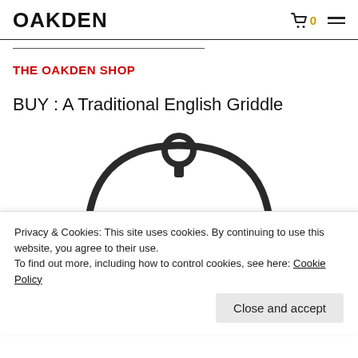OAKDEN
THE OAKDEN SHOP
BUY : A Traditional English Griddle
[Figure (photo): A traditional English griddle shown from above, circular dark iron pan with a loop handle at the top.]
Privacy & Cookies: This site uses cookies. By continuing to use this website, you agree to their use.
To find out more, including how to control cookies, see here: Cookie Policy
Close and accept